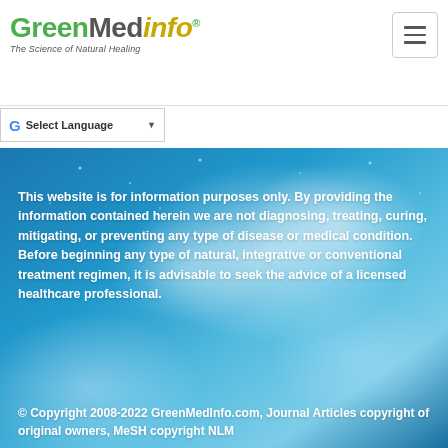GreenMedInfo — The Science of Natural Healing
Select Language
[Figure (photo): Blue icy/snowy background with white cloudy frost texture, used as decorative banner image]
This website is for information purposes only. By providing the information contained herein we are not diagnosing, treating, curing, mitigating, or preventing any type of disease or medical condition. Before beginning any type of natural, integrative or conventional treatment regimen, it is advisable to seek the advice of a licensed healthcare professional.
© Copyright 2008-2022 GreenMedInfo.com, Journal Articles copyright of original owners, MeSH copyright NLM